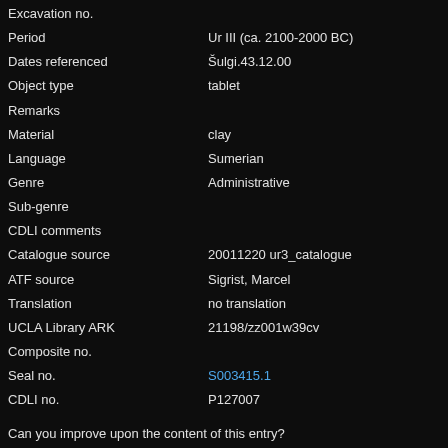| Field | Value |
| --- | --- |
| Excavation no. |  |
| Period | Ur III (ca. 2100-2000 BC) |
| Dates referenced | Šulgi.43.12.00 |
| Object type | tablet |
| Remarks |  |
| Material | clay |
| Language | Sumerian |
| Genre | Administrative |
| Sub-genre |  |
| CDLI comments |  |
| Catalogue source | 20011220 ur3_catalogue |
| ATF source | Sigrist, Marcel |
| Translation | no translation |
| UCLA Library ARK | 21198/zz001w39cv |
| Composite no. |  |
| Seal no. | S003415.1 |
| CDLI no. | P127007 |
Can you improve upon the content of this entry?
Please contact us!
SACT 2, 029
Click for archival page
| Field | Value |
| --- | --- |
| Primary publication | SACT 2, 029 |
| Author(s) | Kang, Shin T. |
| Publication date | 1973 |